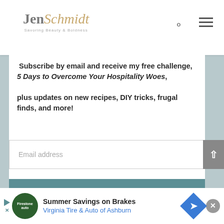Jen Schmidt — Savoring Beauty & Boldness
Subscribe by email and receive my free challenge, 5 Days to Overcome Your Hospitality Woes, plus updates on new recipes, DIY tricks, frugal finds, and more!
Email address
SUBSCRIBE
Summer Savings on Brakes — Virginia Tire & Auto of Ashburn